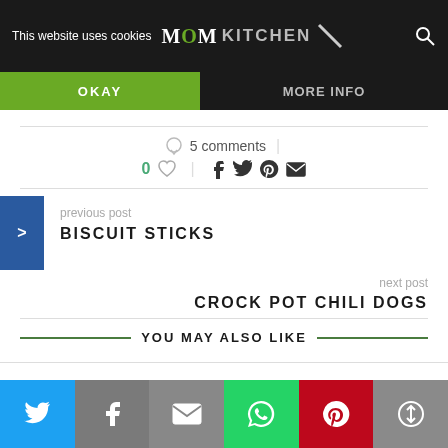This website uses cookies | MOM KITCHEN | OKAY | MORE INFO
5 comments
0 ♡
previous post
BISCUIT STICKS
next post
CROCK POT CHILI DOGS
YOU MAY ALSO LIKE
Twitter | Facebook | Email | WhatsApp | Pinterest | More